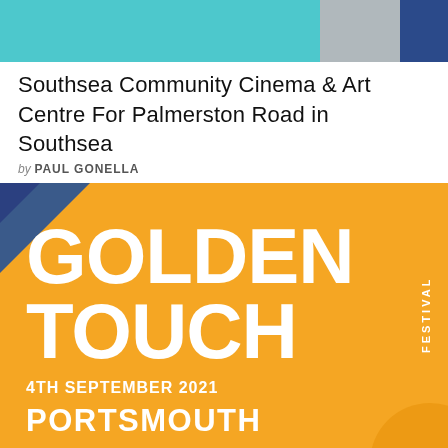[Figure (photo): Top banner image showing a cinema or arts venue with teal/blue and grey sections]
Southsea Community Cinema & Art Centre For Palmerston Road in Southsea
by PAUL GONELLA
[Figure (illustration): Golden Touch Festival promotional graphic on orange background with white bold text reading GOLDEN TOUCH FESTIVAL, 4TH SEPTEMBER 2021, PORTSMOUTH]